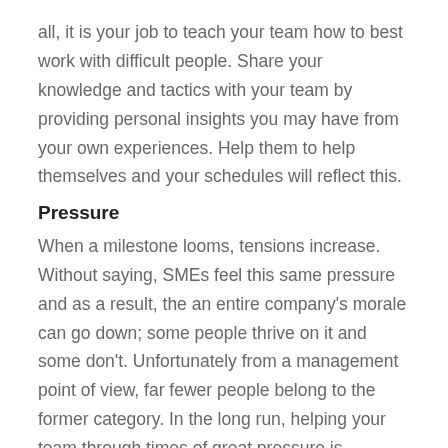all, it is your job to teach your team how to best work with difficult people. Share your knowledge and tactics with your team by providing personal insights you may have from your own experiences. Help them to help themselves and your schedules will reflect this.
Pressure
When a milestone looms, tensions increase. Without saying, SMEs feel this same pressure and as a result, the an entire company's morale can go down; some people thrive on it and some don't. Unfortunately from a management point of view, far fewer people belong to the former category. In the long run, helping your team through times of great pressure is beneficial. Emotion and attitude plays an important role in creating tolerance to pressure. Find ways to relieve the pressure your team feels without sacrificing a schedule. Some suggestions include: